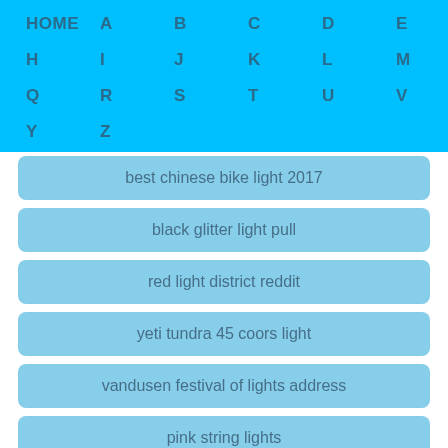HOME A B C D E F G H I J K L M N O P Q R S T U V W X Y Z
best chinese bike light 2017
black glitter light pull
red light district reddit
yeti tundra 45 coors light
vandusen festival of lights address
pink string lights
day light saving auckland